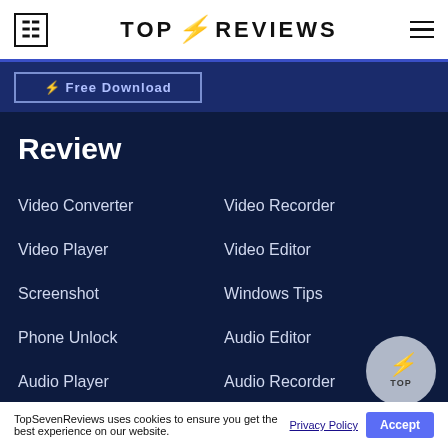TOP 4 REVIEWS
Free Download
Review
Video Converter
Video Recorder
Video Player
Video Editor
Screenshot
Windows Tips
Phone Unlock
Audio Editor
Audio Player
Audio Recorder
Screen Mirror
TopSevenReviews uses cookies to ensure you get the best experience on our website.
Privacy Policy  Accept